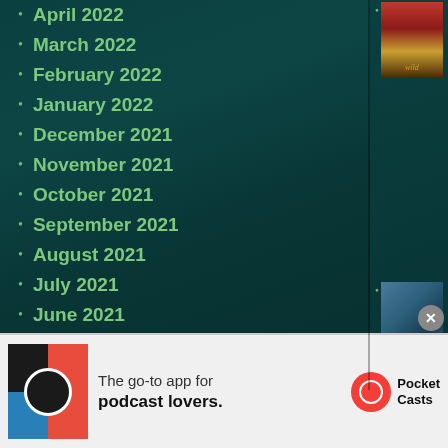April 2022
March 2022
February 2022
January 2022
December 2021
November 2021
October 2021
September 2021
August 2021
July 2021
June 2021
May 2021
April 2021
[Figure (photo): Book cover - Wild]
[Figure (photo): Book cover - cards/landscape image]
[Figure (photo): Book cover - dark image]
[Figure (photo): Book cover - Autopsy by Patricia]
The go-to app for podcast lovers. Pocket Casts